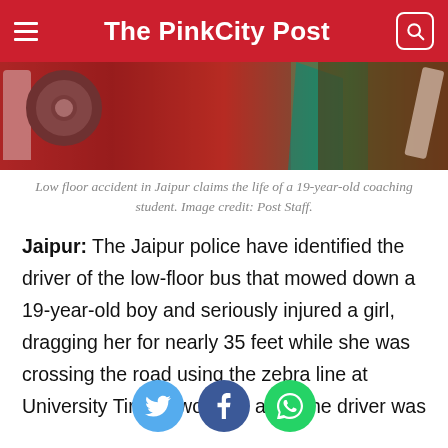The PinkCity Post
[Figure (photo): Crash scene showing a red low-floor bus involved in an accident, with wreckage visible]
Low floor accident in Jaipur claims the life of a 19-year-old coaching student. Image credit: Post Staff.
Jaipur: The Jaipur police have identified the driver of the low-floor bus that mowed down a 19-year-old boy and seriously injured a girl, dragging her for nearly 35 feet while she was crossing the road using the zebra line at University Tiraha two days ago. The driver was